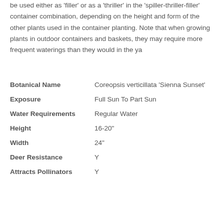be used either as 'filler' or as a 'thriller' in the 'spiller-thriller-filler' container combination, depending on the height and form of the other plants used in the container planting. Note that when growing plants in outdoor containers and baskets, they may require more frequent waterings than they would in the ya
| Botanical Name | Coreopsis verticillata 'Sienna Sunset' |
| Exposure | Full Sun To Part Sun |
| Water Requirements | Regular Water |
| Height | 16-20" |
| Width | 24" |
| Deer Resistance | Y |
| Attracts Pollinators | Y |